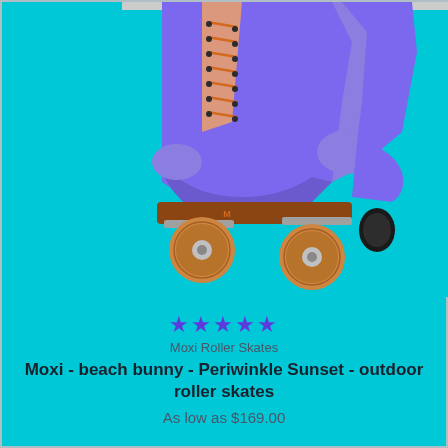[Figure (photo): Close-up photo of a purple/periwinkle roller skate (Moxi Beach Bunny) with brown leather sole plate, orange wheels, and peach laces, against a bright cyan/turquoise background]
★★★★★
Moxi Roller Skates
Moxi - beach bunny - Periwinkle Sunset - outdoor roller skates
As low as $169.00